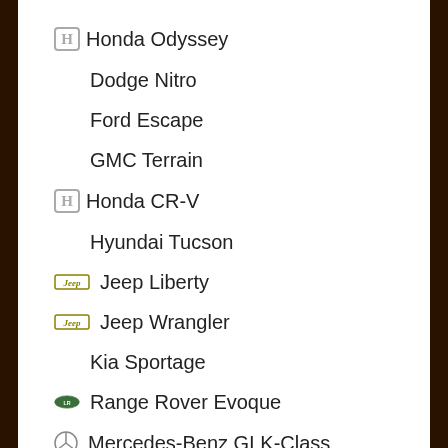Honda Odyssey
Dodge Nitro
Ford Escape
GMC Terrain
Honda CR-V
Hyundai Tucson
Jeep Liberty
Jeep Wrangler
Kia Sportage
Range Rover Evoque
Mercedes-Benz GLK-Class
Mitsubishi Outlander
Nissan Rogue